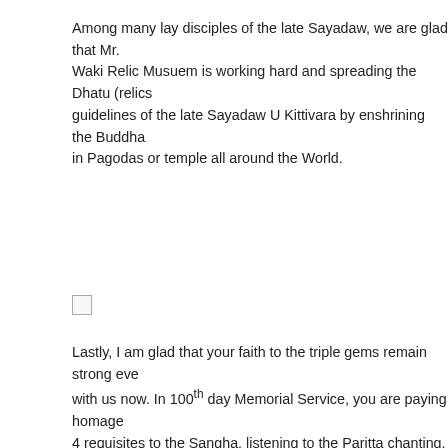Among many lay disciples of the late Sayadaw, we are glad that Mr. Waki Relic Musuem is working hard and spreading the Dhatu (relics guidelines of the late Sayadaw U Kittivara by enshrining the Buddha in Pagodas or temple all around the World.
[Figure (other): Small checkbox/square icon]
Lastly, I am glad that your faith to the triple gems remain strong eve with us now. In 100th day Memorial Service, you are paying homage 4 requisites to the Sangha, listening to the Paritta chanting, may the most respected Sayadaw U Kittivara. May all the devotees and Wak and carrying on with the buddhist missionaries.
Sadhu! Sadhu! Sadhu!
[Figure (other): Small checkbox/square icon]
မြတ်ဗုဒ္ဓဘုရားကို ရည်ညွှန်းလျက် ကျွနု်ပ်မှ တင်ပြအပ်ပါသည်
ကောင်းမြတ်သောတရား, ရက်စွဲ2021ခုနှစ်11လပိုင်း07ရက်နေ့တွင် မြတ်ဗုဒ္ဓ၏ ကောင်းမြတ်သောတရားတော်